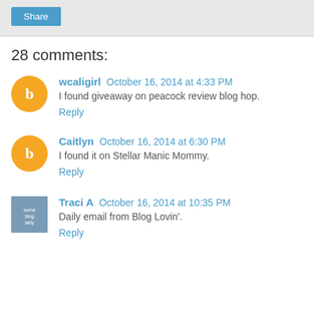Share
28 comments:
wcaligirl  October 16, 2014 at 4:33 PM
I found giveaway on peacock review blog hop.
Reply
Caitlyn  October 16, 2014 at 6:30 PM
I found it on Stellar Manic Mommy.
Reply
Traci A  October 16, 2014 at 10:35 PM
Daily email from Blog Lovin'.
Reply